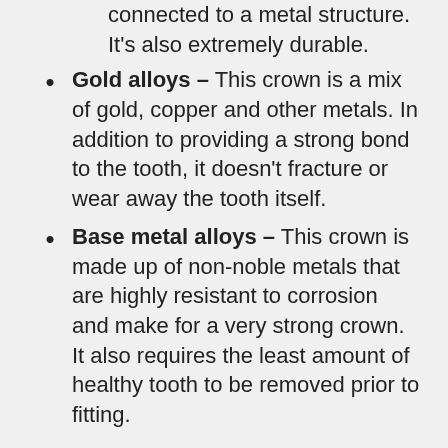connected to a metal structure. It's also extremely durable.
Gold alloys – This crown is a mix of gold, copper and other metals. In addition to providing a strong bond to the tooth, it doesn't fracture or wear away the tooth itself.
Base metal alloys – This crown is made up of non-noble metals that are highly resistant to corrosion and make for a very strong crown. It also requires the least amount of healthy tooth to be removed prior to fitting.
To make and place a traditional crown typically takes two separate appointments: